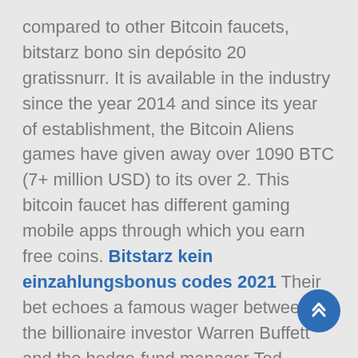compared to other Bitcoin faucets, bitstarz bono sin depósito 20 gratissnurr. It is available in the industry since the year 2014 and since its year of establishment, the Bitcoin Aliens games have given away over 1090 BTC (7+ million USD) to its over 2. This bitcoin faucet has different gaming mobile apps through which you earn free coins. Bitstarz kein einzahlungsbonus codes 2021 Their bet echoes a famous wager between the billionaire investor Warren Buffett and the hedge-fund manager Ted Seides in 2007, bitstarz bonus code no deposit 2019. Buffett staked $1 million on the S&P 500 besting a basket of hedge funds over a decade and won. Bitcoin is a payment system introduced as open-source software in 2009 by developer Satoshi Nakamoto. The payments in the system are recorded in a public ledger using its own unit of account, which